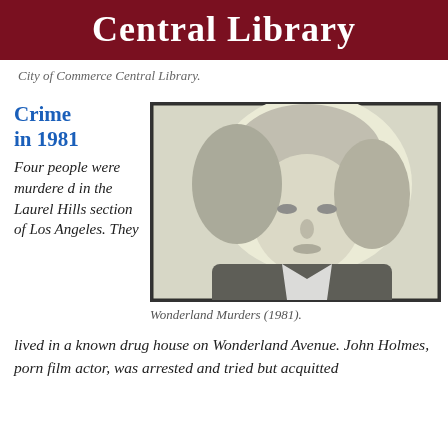Central Library
City of Commerce Central Library.
Crime in 1981
Four people were murdered in the Laurel Hills section of Los Angeles. They
[Figure (photo): Black and white mugshot-style photograph of a woman with light hair.]
Wonderland Murders (1981).
lived in a known drug house on Wonderland Avenue. John Holmes, porn film actor, was arrested and tried but acquitted